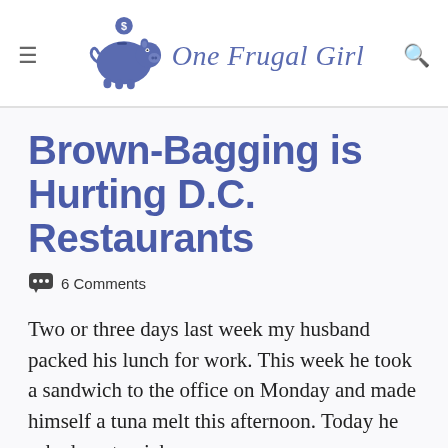[Figure (logo): One Frugal Girl website header with piggy bank logo, hamburger menu icon on left, search icon on right, and script-style site name text]
Brown-Bagging is Hurting D.C. Restaurants
6 Comments
Two or three days last week my husband packed his lunch for work. This week he took a sandwich to the office on Monday and made himself a tuna melt this afternoon. Today he asked me to pick up